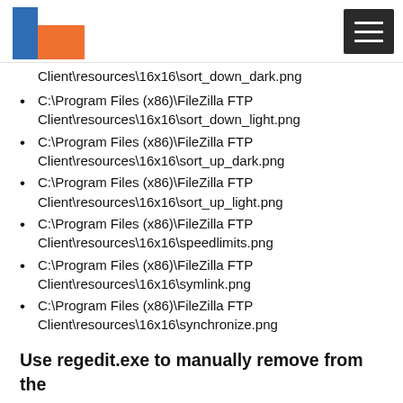[Logo and navigation header]
C:\Program Files (x86)\FileZilla FTP Client\resources\16x16\sort_down_dark.png
C:\Program Files (x86)\FileZilla FTP Client\resources\16x16\sort_down_light.png
C:\Program Files (x86)\FileZilla FTP Client\resources\16x16\sort_up_dark.png
C:\Program Files (x86)\FileZilla FTP Client\resources\16x16\sort_up_light.png
C:\Program Files (x86)\FileZilla FTP Client\resources\16x16\speedlimits.png
C:\Program Files (x86)\FileZilla FTP Client\resources\16x16\symlink.png
C:\Program Files (x86)\FileZilla FTP Client\resources\16x16\synchronize.png
Use regedit.exe to manually remove from the